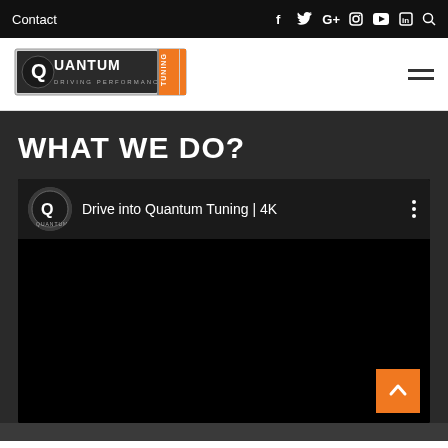Contact  Facebook  Twitter  G+  Instagram  YouTube  LinkedIn  Search
[Figure (logo): Quantum Tuning - Driving Performance logo with orange bars on right side]
WHAT WE DO?
[Figure (screenshot): YouTube video embed: Drive into Quantum Tuning | 4K, with Quantum Tuning channel logo, three-dots menu, black video area, and orange back-to-top button]